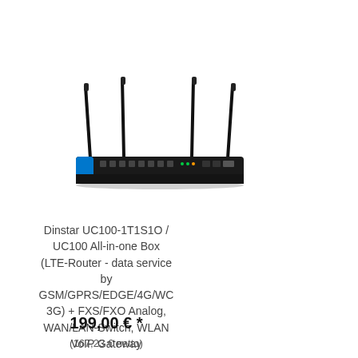[Figure (photo): Dinstar UC100 router device with four external antennas and a dark chassis with front-panel ports and a blue accent stripe]
Dinstar UC100-1T1S1O / UC100 All-in-one Box (LTE-Router - data service by GSM/GPRS/EDGE/4G/WC 3G) + FXS/FXO Analog, WAN/LAN-Switch, WLAN VoIP Gateway
199,00 € *
(167,23 € netto)